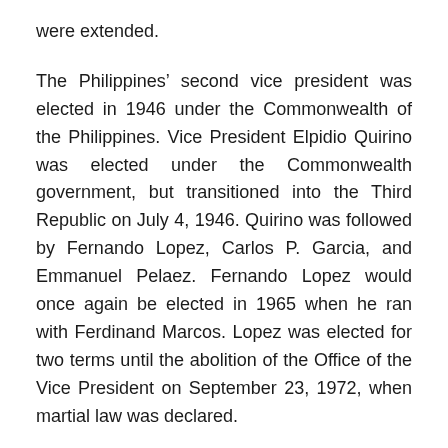were extended.
The Philippines’ second vice president was elected in 1946 under the Commonwealth of the Philippines. Vice President Elpidio Quirino was elected under the Commonwealth government, but transitioned into the Third Republic on July 4, 1946. Quirino was followed by Fernando Lopez, Carlos P. Garcia, and Emmanuel Pelaez. Fernando Lopez would once again be elected in 1965 when he ran with Ferdinand Marcos. Lopez was elected for two terms until the abolition of the Office of the Vice President on September 23, 1972, when martial law was declared.
The original 1973 Constitution did not provide for a vice president of the Philippines. The position remained abolished until constitutional amendments were made in